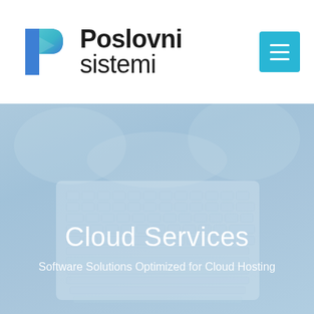[Figure (logo): Poslovni sistemi logo with a blue and green P-shaped arrow icon, followed by bold text 'Poslovni' and lighter text 'sistemi']
[Figure (other): A cyan/teal square hamburger menu button with three white horizontal lines]
[Figure (photo): Hero banner with a light blue-tinted background showing a person typing on a laptop keyboard, overlaid with white text]
Cloud Services
Software Solutions Optimized for Cloud Hosting